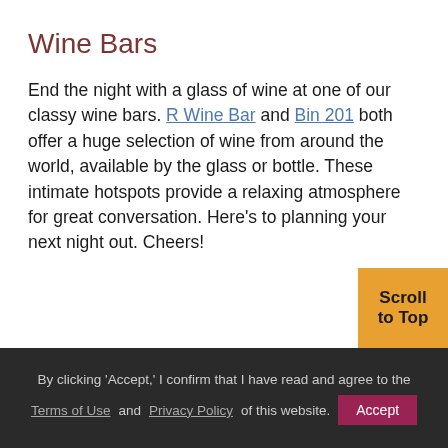Wine Bars
End the night with a glass of wine at one of our classy wine bars. R Wine Bar and Bin 201 both offer a huge selection of wine from around the world, available by the glass or bottle. These intimate hotspots provide a relaxing atmosphere for great conversation. Here’s to planning your next night out. Cheers!
By clicking ‘Accept,’ I confirm that I have read and agree to the Terms of Use and Privacy Policy of this website. Accept